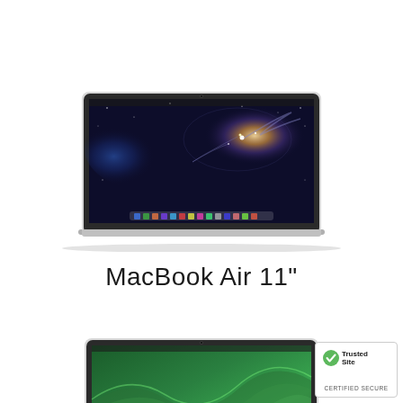[Figure (photo): MacBook Air 11 inch laptop open, showing Galaxy/Milky Way wallpaper on screen, silver aluminum body, top-down slightly angled view]
MacBook Air 11"
[Figure (photo): Second MacBook Air laptop (partially visible, cropped at bottom of page), showing green wave/Mavericks wallpaper on screen]
[Figure (logo): TrustedSite Certified Secure badge, bottom right corner]